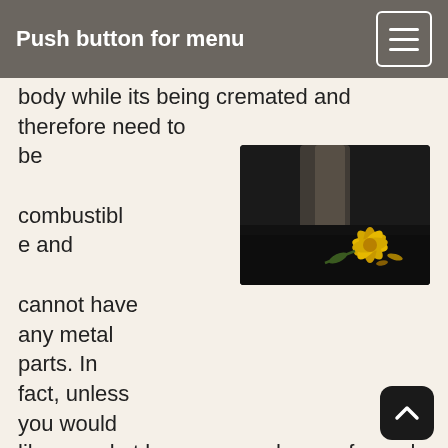Push button for menu
body while its being cremated and therefore need to be combustible and cannot have any metal parts. In fact, unless you would like a casket because you have a funeral before the cremation, you don't have to have a true casket at all. You can choose a cremation container, or simple box, in which to cremate the body.
[Figure (photo): A wilted yellow flower lying on a dark surface, softly lit from behind with a blurred background]
There are a lot of different caskets out there, all in